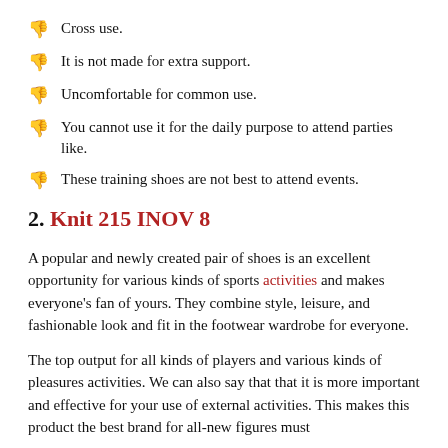Cross use.
It is not made for extra support.
Uncomfortable for common use.
You cannot use it for the daily purpose to attend parties like.
These training shoes are not best to attend events.
2. Knit 215 INOV 8
A popular and newly created pair of shoes is an excellent opportunity for various kinds of sports activities and makes everyone’s fan of yours. They combine style, leisure, and fashionable look and fit in the footwear wardrobe for everyone.
The top output for all kinds of players and various kinds of pleasures activities. We can also say that that it is more important and effective for your use of external activities. This makes this product the best brand for all-new figures must